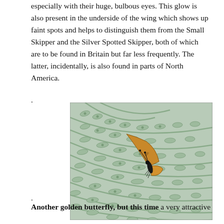especially with their huge, bulbous eyes. This glow is also present in the underside of the wing which shows up faint spots and helps to distinguish them from the Small Skipper and the Silver Spotted Skipper, both of which are to be found in Britain but far less frequently. The latter, incidentally, is also found in parts of North America.
[Figure (photo): A small golden-orange skipper butterfly perched on silvery-green fern fronds, photographed close-up.]
Another golden butterfly, but this time a very attractive